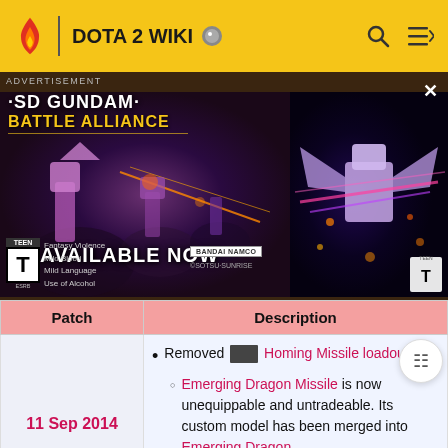DOTA 2 WIKI
[Figure (photo): SD Gundam Battle Alliance advertisement banner with robot characters and 'AVAILABLE NOW' text]
| Patch | Description |
| --- | --- |
| 11 Sep 2014 | Removed [icon] Homing Missile loadout slot.
• Emerging Dragon Missile is now unequippable and untradeable. Its custom model has been merged into Emerging Dragon.
• New versions of the set item does not contain the custom Homing |